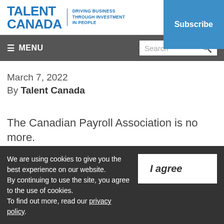TALENT CANADA — DRIVING BUSINESS THROUGH INVESTMENT IN PEOPLE | Subscribe
≡ MENU | Search
March 7, 2022
By Talent Canada
The Canadian Payroll Association is no more.
We are using cookies to give you the best experience on our website. By continuing to use the site, you agree to the use of cookies. To find out more, read our privacy policy.